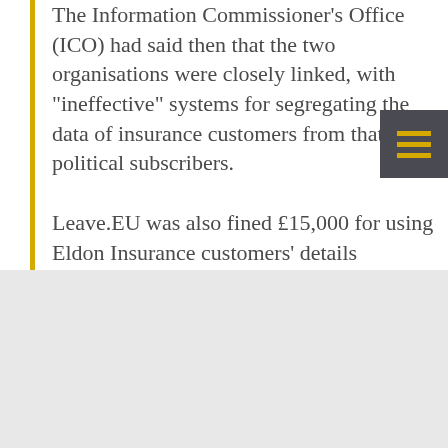The Information Commissioner’s Office (ICO) had said then that the two organisations were closely linked, with “ineffective” systems for segregating the data of insurance customers from that of political subscribers.
Leave.EU was also fined £15,000 for using Eldon Insurance customers’ details unlawfully to send out almost 300,000 political marketing messages
This site uses cookies, including to personalise ads. Click/tap here for details.
I’m happy to visit site